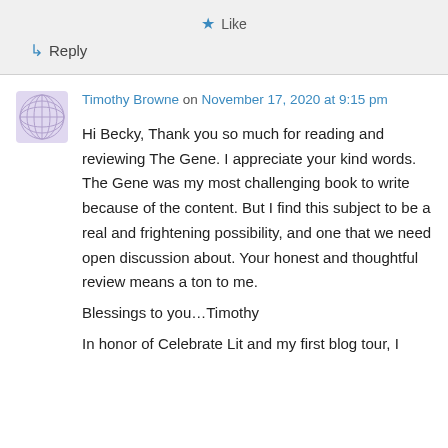★ Like
↳ Reply
Timothy Browne on November 17, 2020 at 9:15 pm
Hi Becky, Thank you so much for reading and reviewing The Gene. I appreciate your kind words. The Gene was my most challenging book to write because of the content. But I find this subject to be a real and frightening possibility, and one that we need open discussion about. Your honest and thoughtful review means a ton to me.
Blessings to you…Timothy

In honor of Celebrate Lit and my first blog tour, I